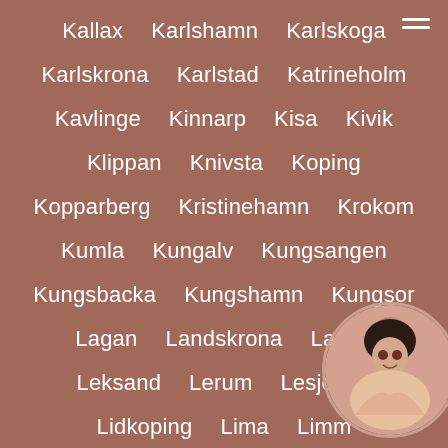Kallax
Karlshamn
Karlskoga
Karlskrona
Karlstad
Katrineholm
Kavlinge
Kinnarp
Kisa
Kivik
Klippan
Knivsta
Koping
Kopparberg
Kristinehamn
Krokom
Kumla
Kungalv
Kungsangen
Kungsbacka
Kungshamn
Kungsor
Lagan
Landskrona
Lanna
Leksand
Lerum
Lesjofors
Lidkoping
Lima
Limma
Lindholmen
Ljungby
Ljungbyhed
[Figure (photo): Circular avatar photo of a woman with dark hair, partially visible in the bottom-right corner of the page]